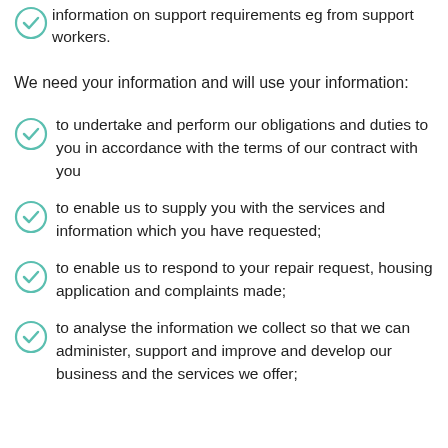information on support requirements eg from support workers.
We need your information and will use your information:
to undertake and perform our obligations and duties to you in accordance with the terms of our contract with you
to enable us to supply you with the services and information which you have requested;
to enable us to respond to your repair request, housing application and complaints made;
to analyse the information we collect so that we can administer, support and improve and develop our business and the services we offer;